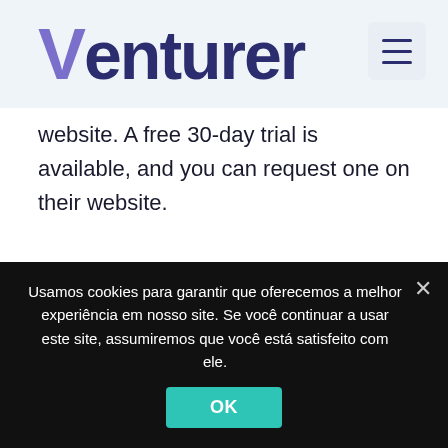Venturer
website. A free 30-day trial is available, and you can request one on their website.
Accedo
Usamos cookies para garantir que oferecemos a melhor experiência em nosso site. Se você continuar a usar este site, assumiremos que você está satisfeito com ele.